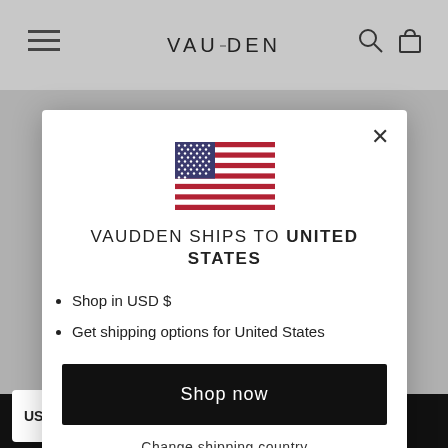[Figure (screenshot): VAUDDEN e-commerce website navigation bar with hamburger menu, logo, search and cart icons on a grey background]
[Figure (illustration): United States flag emoji/icon centered in the modal dialog]
VAUDDEN SHIPS TO UNITED STATES
Shop in USD $
Get shipping options for United States
Shop now
Change shipping country
USD
ADD TO CART